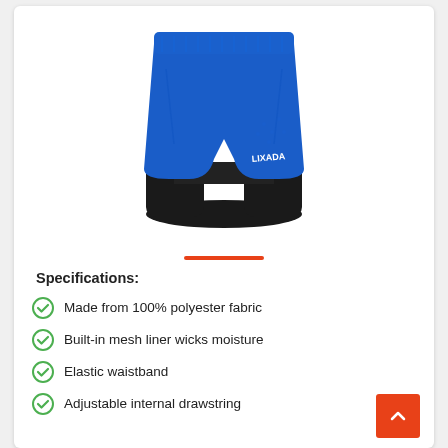[Figure (photo): Blue athletic running shorts with black inner compression liner, LIXADA brand logo visible on lower right of shorts.]
Specifications:
Made from 100% polyester fabric
Built-in mesh liner wicks moisture
Elastic waistband
Adjustable internal drawstring